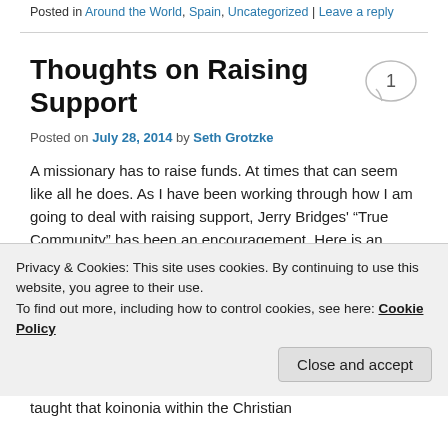Posted in Around the World, Spain, Uncategorized | Leave a reply
Thoughts on Raising Support
Posted on July 28, 2014 by Seth Grotzke
A missionary has to raise funds. At times that can seem like all he does. As I have been working through how I am going to deal with raising support, Jerry Bridges' “True Community” has been an encouragement. Here is an excerpt from chapter six.
Privacy & Cookies: This site uses cookies. By continuing to use this website, you agree to their use.
To find out more, including how to control cookies, see here: Cookie Policy
Close and accept
taught that koinonia within the Christian